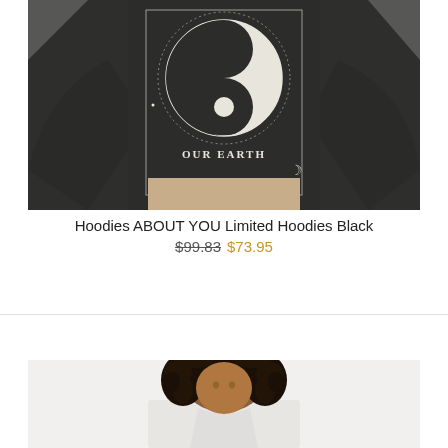[Figure (photo): Black hoodie sweatshirt with yin-yang 'OUR EARTH' graphic print on the back, worn by a model, photographed from behind/side angle against a light background. Model wears beige/khaki pants.]
Hoodies ABOUT YOU Limited Hoodies Black
$99.83  $73.95
[Figure (photo): Person with curly dark hair, partial view showing head/upper body, against a light/white background. Second product listing image.]